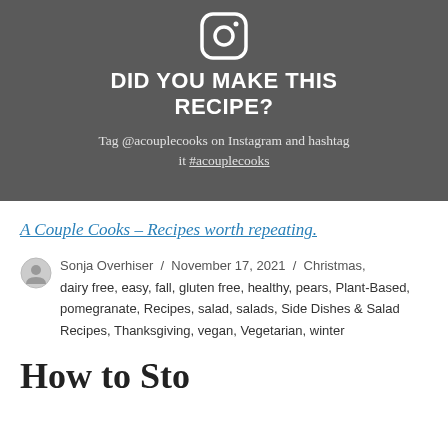[Figure (illustration): Instagram camera icon (white outline on dark gray background)]
DID YOU MAKE THIS RECIPE?
Tag @acouplecooks on Instagram and hashtag it #acouplecooks
A Couple Cooks - Recipes worth repeating.
Sonja Overhiser / November 17, 2021 / Christmas, dairy free, easy, fall, gluten free, healthy, pears, Plant-Based, pomegranate, Recipes, salad, salads, Side Dishes & Salad Recipes, Thanksgiving, vegan, Vegetarian, winter
How to Sto...